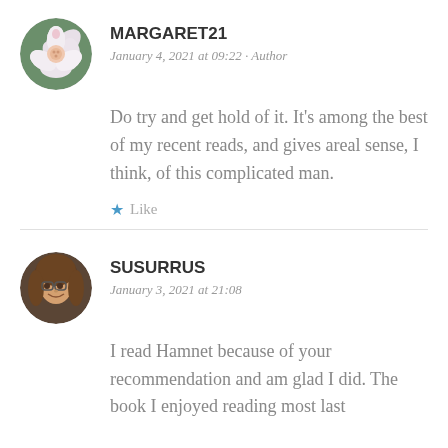[Figure (photo): Round avatar photo of a flower (white/pink petals) for user MARGARET21]
MARGARET21
January 4, 2021 at 09:22 · Author
Do try and get hold of it. It's among the best of my recent reads, and gives areal sense, I think, of this complicated man.
★ Like
[Figure (photo): Round avatar photo of a woman with glasses and brown hair for user SUSURRUS]
SUSURRUS
January 3, 2021 at 21:08
I read Hamnet because of your recommendation and am glad I did. The book I enjoyed reading most last